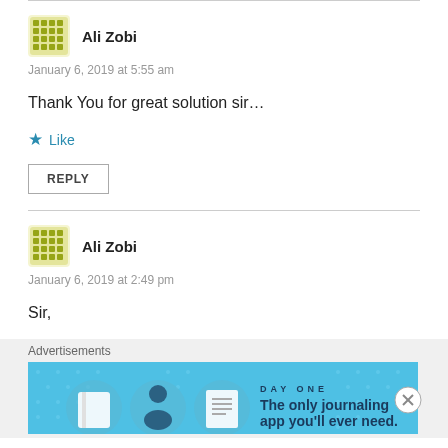Ali Zobi — January 6, 2019 at 5:55 am
Thank You for great solution sir…
★ Like
REPLY
Ali Zobi — January 6, 2019 at 2:49 pm
Sir,
Advertisements
[Figure (screenshot): Day One journaling app advertisement banner: light blue background, three circular icons (book, person, notepad), text 'DAY ONE' and 'The only journaling app you'll ever need.']